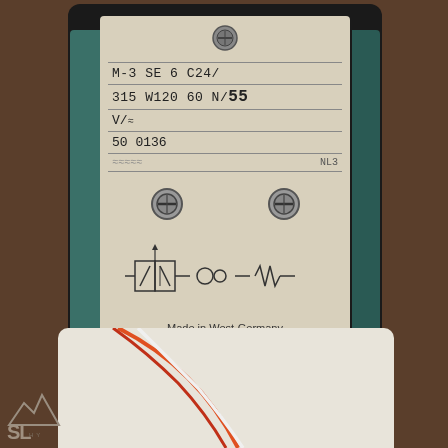[Figure (photo): Close-up photograph of an industrial component label/nameplate from The Rexroth Corporation. Label shows model number M-3 SE 6 C24/, specifications 315 W120 60 N/55, V/[symbol], 50 0136, NL3. Below are two mounting screws and a hydraulic circuit diagram symbol. Text reads: Made in West-Germany, THK REXROTH CORPORATION, BETHLEHEM PA. Bottom shows RN 176.50 and 014103/4 H. An eBay watermark is visible. Background is dark brown/black housing.]
[Figure (photo): Partial bottom photograph showing wires (orange/red and white) from the same Rexroth component, on a white/cream background.]
[Figure (logo): SL Hydraulics company logo in bottom-left corner, partial view showing mountain graphic and SL text with HY below.]